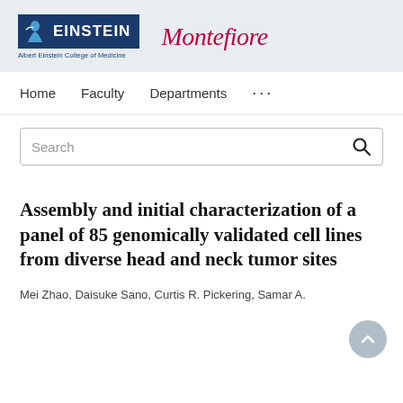[Figure (logo): Albert Einstein College of Medicine and Montefiore institutional logos on a light blue-grey header band]
Home   Faculty   Departments   ...
[Figure (screenshot): Search bar with search icon]
Assembly and initial characterization of a panel of 85 genomically validated cell lines from diverse head and neck tumor sites
Mei Zhao, Daisuke Sano, Curtis R. Pickering, Samar A.